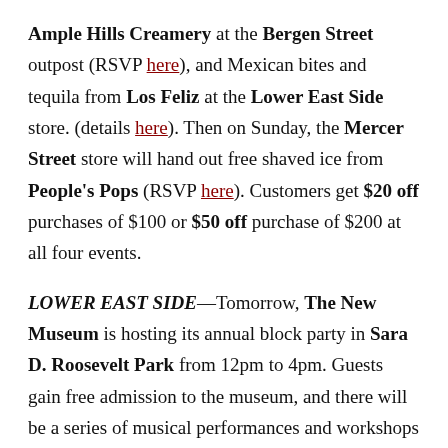Ample Hills Creamery at the Bergen Street outpost (RSVP here), and Mexican bites and tequila from Los Feliz at the Lower East Side store. (details here). Then on Sunday, the Mercer Street store will hand out free shaved ice from People's Pops (RSVP here). Customers get $20 off purchases of $100 or $50 off purchase of $200 at all four events.
LOWER EAST SIDE—Tomorrow, The New Museum is hosting its annual block party in Sara D. Roosevelt Park from 12pm to 4pm. Guests gain free admission to the museum, and there will be a series of musical performances and workshops throughout the day. Find out more details here.
GREENPOINT — The first-ever Greenpointers Summer...